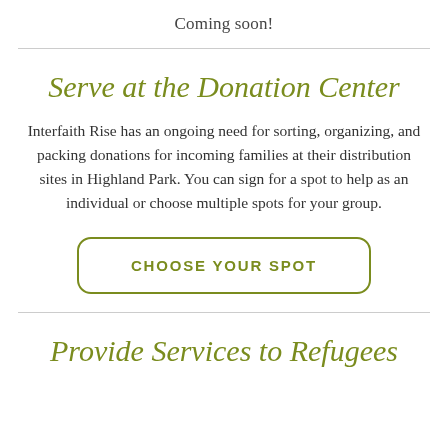Coming soon!
Serve at the Donation Center
Interfaith Rise has an ongoing need for sorting, organizing, and packing donations for incoming families at their distribution sites in Highland Park. You can sign for a spot to help as an individual or choose multiple spots for your group.
CHOOSE YOUR SPOT
Provide Services to Refugees